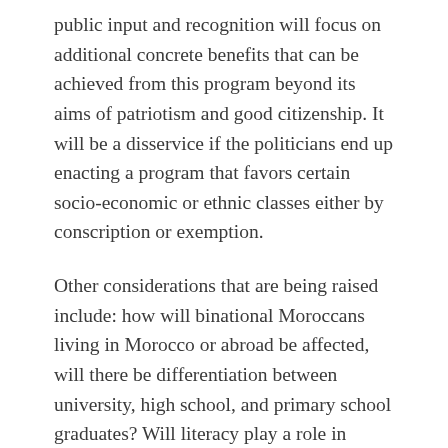public input and recognition will focus on additional concrete benefits that can be achieved from this program beyond its aims of patriotism and good citizenship. It will be a disservice if the politicians end up enacting a program that favors certain socio-economic or ethnic classes either by conscription or exemption.
Other considerations that are being raised include: how will binational Moroccans living in Morocco or abroad be affected, will there be differentiation between university, high school, and primary school graduates? Will literacy play a role in qualifying for the program and will there be a remedial component? Is there any thought to a skills component to the program? These and other questions are some examples of the complexity of